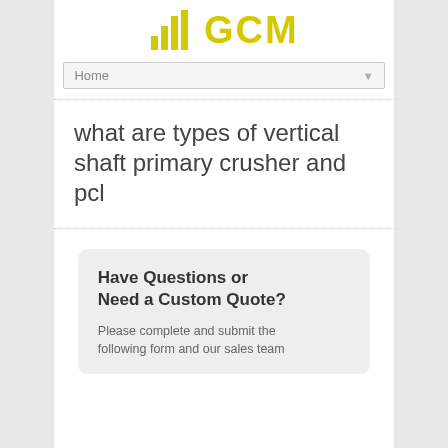[Figure (logo): GCM logo with yellow bar chart icon and yellow GCM text]
Home
what are types of vertical shaft primary crusher and pcl
Have Questions or Need a Custom Quote?
Please complete and submit the following form and our sales team